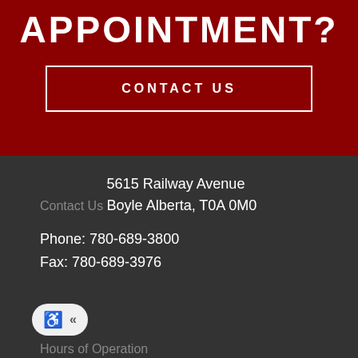APPOINTMENT?
CONTACT US
Contact Us
5615 Railway Avenue
Boyle Alberta, T0A 0M0
Phone: 780-689-3800
Fax: 780-689-3976
[Figure (other): Accessibility widget with wheelchair icon and double-arrow toggle button]
Hours of Operation